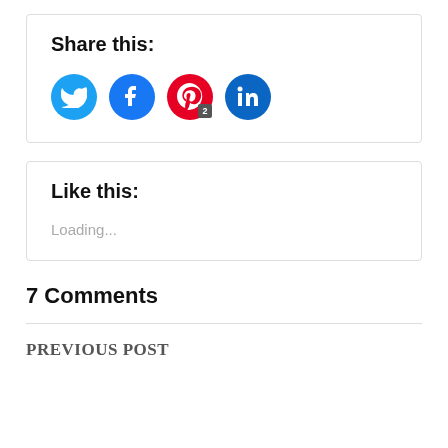Share this:
[Figure (infographic): Four social media share buttons: Twitter (blue circle), Facebook (blue circle), Pinterest (red circle with badge '2'), LinkedIn (dark teal circle)]
Like this:
Loading...
7 Comments
PREVIOUS POST